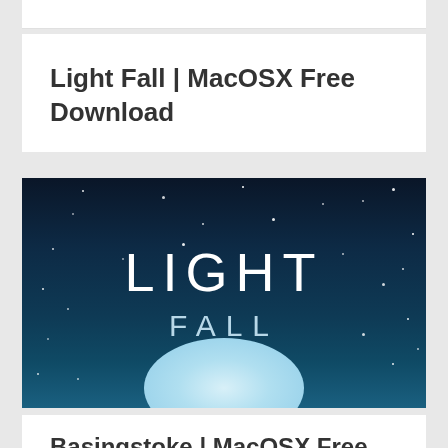Light Fall | MacOSX Free Download
[Figure (illustration): Game cover art for 'Light Fall' showing the title text in white letters against a dark night sky background with stars and a glowing moon at the bottom.]
Basingstoke | MacOSX Free